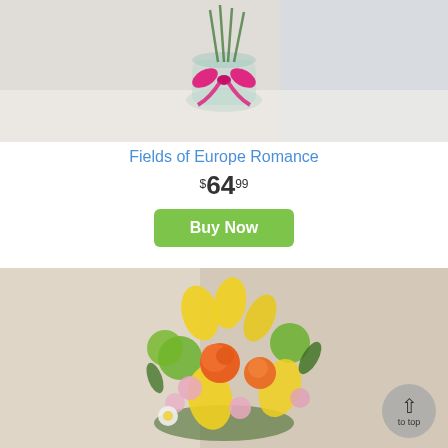[Figure (photo): Flower arrangement in a glass vase with a pink ribbon bow on a white surface]
Fields of Europe Romance
$64.99
Buy Now
[Figure (photo): Colorful bouquet with yellow lilies, orange roses, pink alstroemeria, and green flowers]